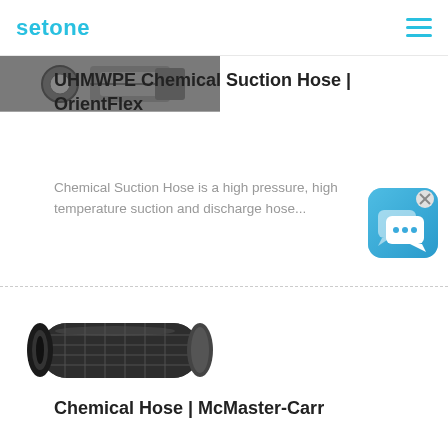setone
[Figure (photo): Partial photo of metal hose fittings/couplings, dark mechanical parts on grey background]
UHMWPE Chemical Suction Hose | OrientFlex
Chemical Suction Hose is a high pressure, high temperature suction and discharge hose...
[Figure (photo): Chat bubble / messaging app icon with blue gradient background and white speech bubble icons]
[Figure (photo): Black industrial chemical hose photographed on white background, showing textured surface and open end]
Chemical Hose | McMaster-Carr